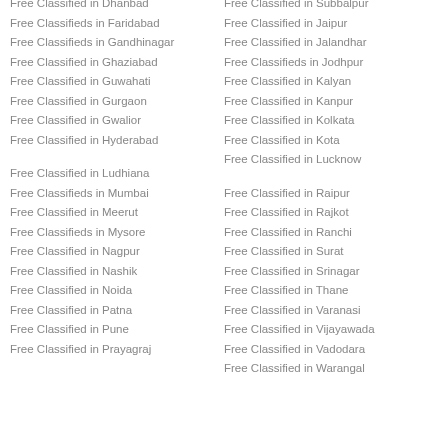Free Classified in Dhanbad
Free Classifieds in Faridabad
Free Classifieds in Gandhinagar
Free Classified in Ghaziabad
Free Classified in Guwahati
Free Classified in Gurgaon
Free Classified in Gwalior
Free Classified in Hyderabad
Free Classified in Ludhiana
Free Classifieds in Mumbai
Free Classified in Meerut
Free Classifieds in Mysore
Free Classified in Nagpur
Free Classified in Nashik
Free Classified in Noida
Free Classified in Patna
Free Classified in Pune
Free Classified in Prayagraj
Free Classified in Subbalpur
Free Classified in Jaipur
Free Classified in Jalandhar
Free Classifieds in Jodhpur
Free Classified in Kalyan
Free Classified in Kanpur
Free Classified in Kolkata
Free Classified in Kota
Free Classified in Lucknow
Free Classified in Raipur
Free Classified in Rajkot
Free Classified in Ranchi
Free Classified in Surat
Free Classified in Srinagar
Free Classified in Thane
Free Classified in Varanasi
Free Classified in Vijayawada
Free Classified in Vadodara
Free Classified in Warangal